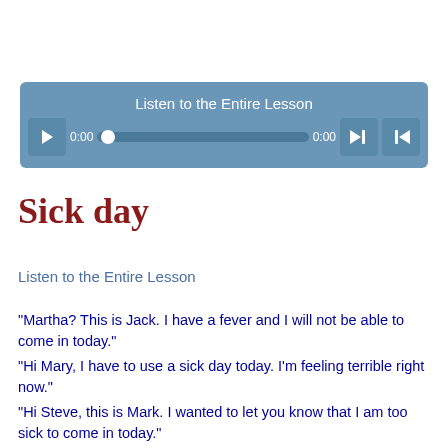[Figure (screenshot): Audio player widget with 'Listen to the Entire Lesson' title, play button, 0:00 time labels, progress bar with thumb, and skip buttons on a blue background]
Sick day
Listen to the Entire Lesson
"Martha? This is Jack. I have a fever and I will not be able to come in today."
"Hi Mary, I have to use a sick day today. I'm feeling terrible right now."
"Hi Steve, this is Mark. I wanted to let you know that I am too sick to come in today."
"Hi Andrew, this is Josh. I'm pretty sick so I will not be able to make it in today. I was feeling sick last night and thought I would